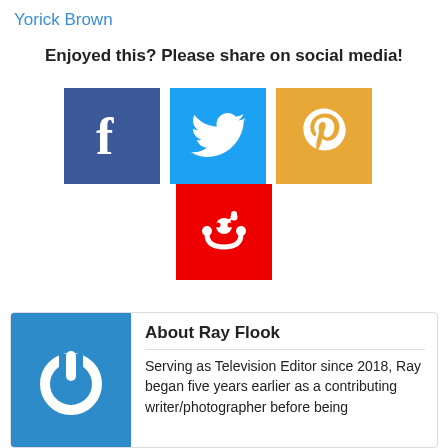Yorick Brown
Enjoyed this? Please share on social media!
[Figure (illustration): Social media sharing icons: Facebook (dark blue), Twitter (light blue), Pinterest (orange), Reddit (red)]
About Ray Flook
Serving as Television Editor since 2018, Ray began five years earlier as a contributing writer/photographer before being